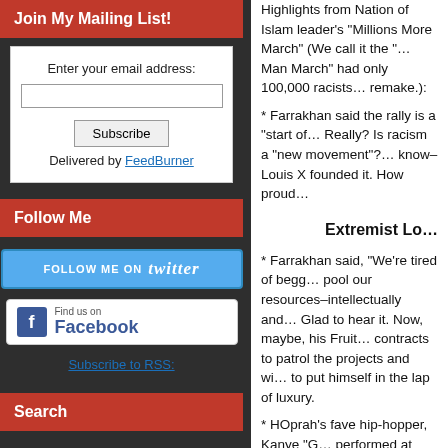Join My Mailing List!
Enter your email address:
Subscribe
Delivered by FeedBurner
Follow Me
[Figure (logo): Follow Me on Twitter button (blue)]
[Figure (logo): Find us on Facebook button]
Subscribe to RSS:
Search
Highlights from Nation of Islam leader’s “Millions More March” (We call it the “…Man March” had only 100,000 racists… remake.):
* Farrakhan said the rally is a “start of… Really? Is racism a “new movement”?… know–Louis X founded it. How proud…
Extremist Lo…
* Farrakhan said, “We’re tired of begg… pool our resources–intellectually and… Glad to hear it. Now, maybe, his Fruit… contracts to patrol the projects and wi… to put himself in the lap of luxury.
* HOprah’s fave hip-hopper, Kanye “G… performed at Sautrday’s pre-March ev… I guess this means we can say, “Kany… Christians, Jews, Asians, Arabs . . . a… denounced.” Damn, no national teleth…
* Detroit Free Press resident propaga… March and Farrakhan’s recent Detroit… a mention of Farrakhan’s raving lunat…